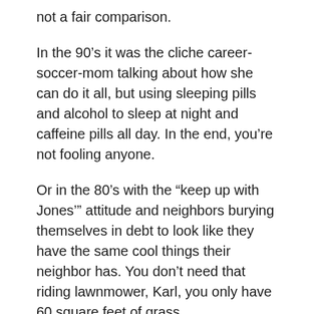not a fair comparison.
In the 90’s it was the cliche career-soccer-mom talking about how she can do it all, but using sleeping pills and alcohol to sleep at night and caffeine pills all day. In the end, you’re not fooling anyone.
Or in the 80’s with the “keep up with Jones’” attitude and neighbors burying themselves in debt to look like they have the same cool things their neighbor has. You don’t need that riding lawnmower, Karl, you only have 60 square feet of grass.
Remember that if no one watched the Kardashians, then how did they have one of the top televisions shows and video games for the